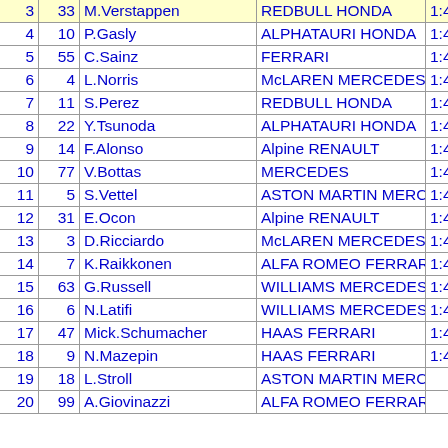| Pos | No | Driver | Team | Time |
| --- | --- | --- | --- | --- |
| 3 | 33 | M.Verstappen | REDBULL HONDA | 1:4 |
| 4 | 10 | P.Gasly | ALPHATAURI HONDA | 1:4 |
| 5 | 55 | C.Sainz | FERRARI | 1:4 |
| 6 | 4 | L.Norris | McLAREN MERCEDES | 1:4 |
| 7 | 11 | S.Perez | REDBULL HONDA | 1:4 |
| 8 | 22 | Y.Tsunoda | ALPHATAURI HONDA | 1:4 |
| 9 | 14 | F.Alonso | Alpine RENAULT | 1:4 |
| 10 | 77 | V.Bottas | MERCEDES | 1:4 |
| 11 | 5 | S.Vettel | ASTON MARTIN MERCEDES | 1:4 |
| 12 | 31 | E.Ocon | Alpine RENAULT | 1:4 |
| 13 | 3 | D.Ricciardo | McLAREN MERCEDES | 1:4 |
| 14 | 7 | K.Raikkonen | ALFA ROMEO FERRARI | 1:4 |
| 15 | 63 | G.Russell | WILLIAMS MERCEDES | 1:4 |
| 16 | 6 | N.Latifi | WILLIAMS MERCEDES | 1:4 |
| 17 | 47 | Mick.Schumacher | HAAS FERRARI | 1:4 |
| 18 | 9 | N.Mazepin | HAAS FERRARI | 1:4 |
| 19 | 18 | L.Stroll | ASTON MARTIN MERCEDES |  |
| 20 | 99 | A.Giovinazzi | ALFA ROMEO FERRARI |  |